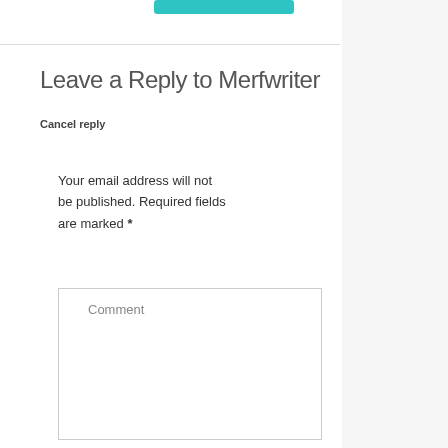Leave a Reply to Merfwriter
Cancel reply
Your email address will not be published. Required fields are marked *